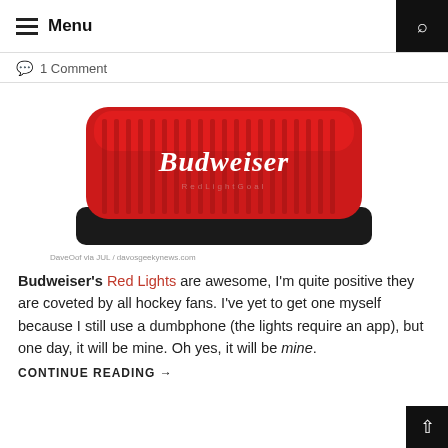Menu
1 Comment
[Figure (photo): A red Budweiser Red Light device with black base, featuring the Budweiser script logo in white on the red illuminated top.]
DaveOof via JUL / davosgeekynews.com
Budweiser's Red Lights are awesome, I'm quite positive they are coveted by all hockey fans. I've yet to get one myself because I still use a dumbphone (the lights require an app), but one day, it will be mine. Oh yes, it will be mine.
CONTINUE READING →